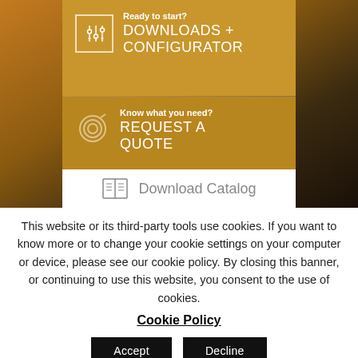[Figure (screenshot): Website screenshot showing golden call-to-action panels over an industrial/engineering background photo at sunset]
Ready to start? DOWNLOADS + CONFIGURATOR
Know what you need? REQUEST A QUOTE
Download Catalog
This website or its third-party tools use cookies. If you want to know more or to change your cookie settings on your computer or device, please see our cookie policy. By closing this banner, or continuing to use this website, you consent to the use of cookies.
Cookie Policy
Accept
Decline